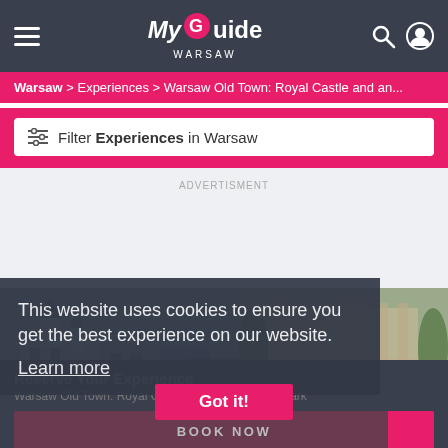My Guide WARSAW
Warsaw > Experiences > Warsaw Old Town: Royal Castle and an...
Filter Experiences in Warsaw
ADVERTISMENT
[Figure (photo): Photo of Warsaw Old Town buildings - castle and park scenes]
This website uses cookies to ensure you get the best experience on our website. Learn more
Reserve Your Experience
Warsaw Old Town: Royal Castle and and Lazienki Park
Got it!
BOOK NOW